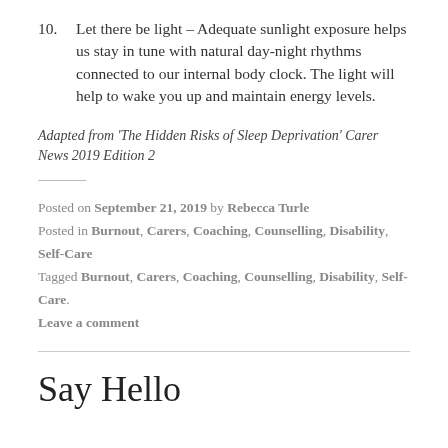10. Let there be light – Adequate sunlight exposure helps us stay in tune with natural day-night rhythms connected to our internal body clock. The light will help to wake you up and maintain energy levels.
Adapted from 'The Hidden Risks of Sleep Deprivation' Carer News 2019 Edition 2
Posted on September 21, 2019 by Rebecca Turle
Posted in Burnout, Carers, Coaching, Counselling, Disability, Self-Care
Tagged Burnout, Carers, Coaching, Counselling, Disability, Self-Care.
Leave a comment
Say Hello